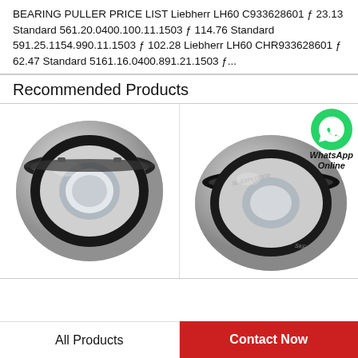BEARING PULLER PRICE LIST Liebherr LH60 C933628601 ƒ 23.13 Standard 561.20.0400.100.11.1503 ƒ 114.76 Standard 591.25.1154.990.11.1503 ƒ 102.28 Liebherr LH60 CHR933628601 ƒ 62.47 Standard 5161.16.0400.891.21.1503 ƒ...
Recommended Products
[Figure (photo): Close-up photo of a metal ball bearing with black seal ring, showing the inner and outer race, viewed at an angle.]
[Figure (photo): Close-up photo of an SKF SL-Explorer bearing with text markings, with a WhatsApp Online green circle badge overlaid in the top right area.]
All Products    Contact Now